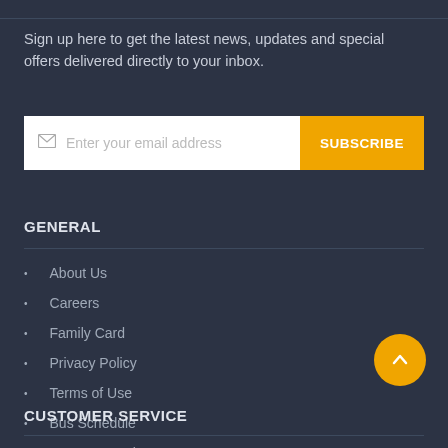Sign up here to get the latest news, updates and special offers delivered directly to your inbox.
[Figure (other): Email subscription input field with placeholder 'Enter your email address' and a yellow SUBSCRIBE button]
GENERAL
About Us
Careers
Family Card
Privacy Policy
Terms of Use
Bus Schedule
Corporate Sales
CUSTOMER SERVICE